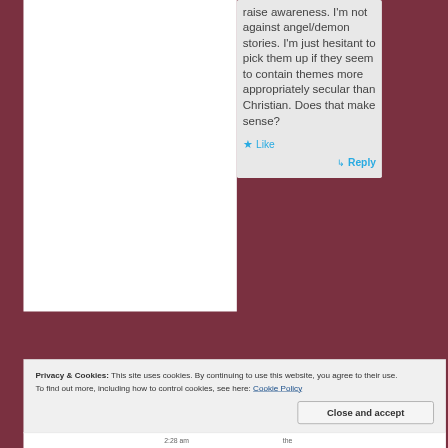raise awareness. I'm not against angel/demon stories. I'm just hesitant to pick them up if they seem to contain themes more appropriately secular than Christian. Does that make sense?
★ Like
↳ Reply
Privacy & Cookies: This site uses cookies. By continuing to use this website, you agree to their use.
To find out more, including how to control cookies, see here: Cookie Policy
Close and accept
2:28 am
the